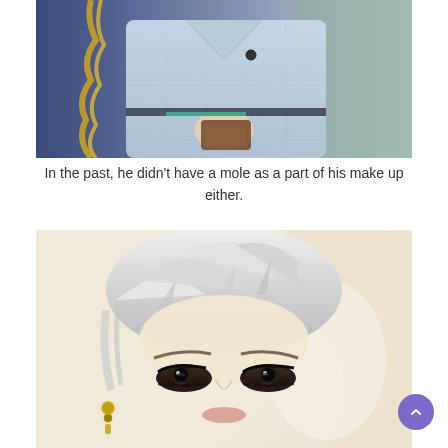[Figure (photo): Person wearing a light blue plaid blazer/jacket, holding a brown wallet, with decorative gold ribbons on the left side. The photo is cropped to show the torso area.]
In the past, he didn't have a mole as a part of his make up either.
[Figure (photo): Close-up selfie of a person with short white/platinum blonde hair and dark eyes, wearing earrings, looking directly at camera.]